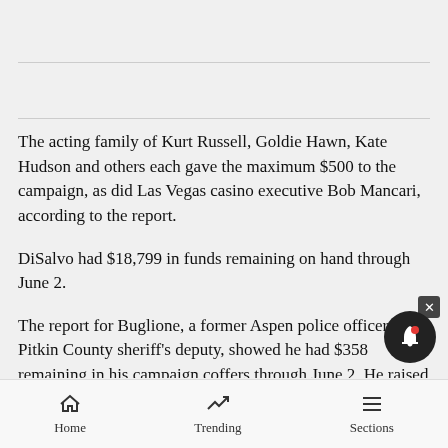The acting family of Kurt Russell, Goldie Hawn, Kate Hudson and others each gave the maximum $500 to the campaign, as did Las Vegas casino executive Bob Mancari, according to the report.
DiSalvo had $18,799 in funds remaining on hand through June 2.
The report for Buglione, a former Aspen police officer and Pitkin County sheriff's deputy, showed he had $358 remaining in his campaign coffers through June 2. He raised $1,693 from January through the beginning of
Home  Trending  Sections